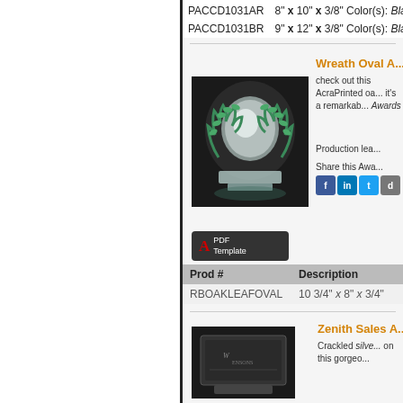| Prod # | Description |
| --- | --- |
| PACCD1031AR | 8" x 10" x 3/8" Color(s): Black |
| PACCD1031BR | 9" x 12" x 3/8" Color(s): Black |
[Figure (photo): Wreath Oval Award - glass oval award with green wreath decoration on dark background]
Wreath Oval A...
check out this AcraPrinted oa... it's a remarkable Awards
Production lea...
Share this Awa...
[Figure (other): PDF Template button]
| Prod # | Description |
| --- | --- |
| RBOAKLEAFOVAL | 10 3/4" x 8" x 3/4" |
Zenith Sales A...
Crackled silver... on this gorgeo...
[Figure (photo): Zenith Sales Award - dark plaque with engraving on dark background]